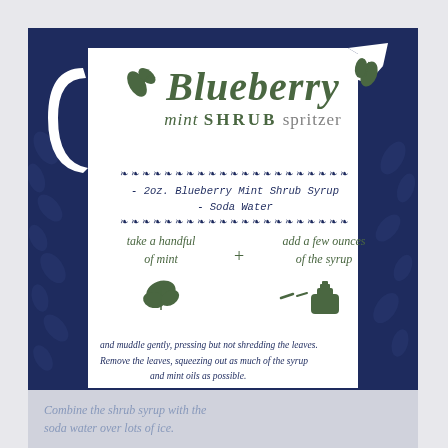[Figure (illustration): Recipe card illustration of a white pitcher on a dark navy blue background with leaf motifs. Contains handwritten-style text for a Blueberry Mint Shrub Spritzer recipe. Title in olive green cursive 'Blueberry', subtitle 'mint shrub spritzer', decorative diamond borders, ingredients list, and step-by-step instructions with mint leaf and bottle icons.]
Blueberry mint shrub spritzer
- 2oz. Blueberry Mint Shrub Syrup
- Soda Water
take a handful of mint + add a few ounces of the syrup
and muddle gently, pressing but not shredding the leaves. Remove the leaves, squeezing out as much of the syrup and mint oils as possible.
Combine the shrub syrup with the soda water over lots of ice.